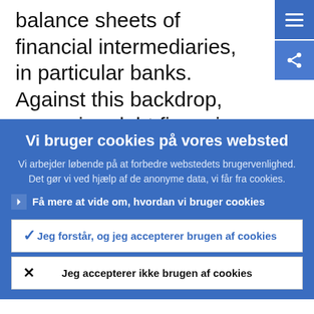balance sheets of financial intermediaries, in particular banks. Against this backdrop, sovereign debt financing in crisis times w be discussed, with reference to the bank-sovereign “doom loop”. Finally, panellists
Vi bruger cookies på vores websted
Vi arbejder løbende på at forbedre webstedets brugervenlighed. Det gør vi ved hjælp af de anonyme data, vi får fra cookies.
Få mere at vide om, hvordan vi bruger cookies
Jeg forstår, og jeg accepterer brugen af cookies
Jeg accepterer ikke brugen af cookies